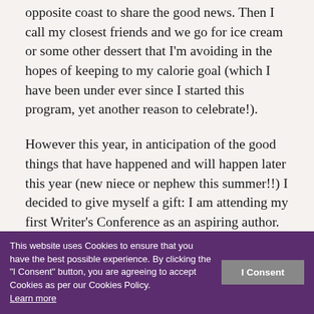opposite coast to share the good news. Then I call my closest friends and we go for ice cream or some other dessert that I'm avoiding in the hopes of keeping to my calorie goal (which I have been under ever since I started this program, yet another reason to celebrate!).
However this year, in anticipation of the good things that have happened and will happen later this year (new niece or nephew this summer!!) I decided to give myself a gift: I am attending my first Writer's Conference as an aspiring author. What better way to celebrate and improve a craft than learning from some very skilled artists and talented individuals. The welcome and positive energy from these Lovely ... nd I ... h my creative self.
This website uses Cookies to ensure that you have the best possible experience. By clicking the "I Consent" button, you are agreeing to accept Cookies as per our Cookies Policy. Learn more